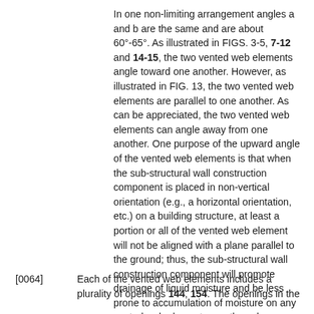In one non-limiting arrangement angles a and b are the same and are about 60°-65°. As illustrated in FIGS. 3-5, 7-12 and 14-15, the two vented web elements angle toward one another. However, as illustrated in FIG. 13, the two vented web elements are parallel to one another. As can be appreciated, the two vented web elements can angle away from one another. One purpose of the upward angle of the vented web elements is that when the sub-structural wall construction component is placed in non-vertical orientation (e.g., a horizontal orientation, etc.) on a building structure, at least a portion or all of the vented web element will not be aligned with a plane parallel to the ground; thus, the sub-structural wall construction component will promote drainage of liquid moisture and be less prone to accumulation of moisture on any vented web element once the sub-structural wall construction component is mounted to a building structure.
[0064]   Each of the vented web elements includes a plurality of openings 144, 154. The openings in the